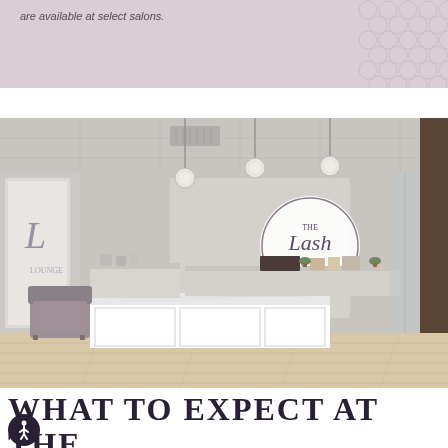are available at select salons.
[Figure (photo): Interior of The Lash Lounge salon showing a white reception desk with marble countertop, a gray upholstered chair, pendant lights, and The Lash Lounge circular logo on the back wall. The space is decorated in soft whites and grays with light wood flooring.]
WHAT TO EXPECT AT THE LASH LOUNGE